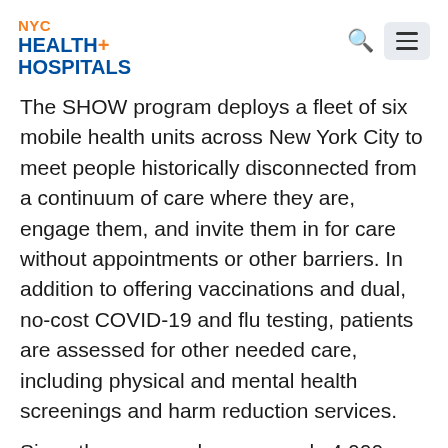NYC HEALTH+ HOSPITALS
The SHOW program deploys a fleet of six mobile health units across New York City to meet people historically disconnected from a continuum of care where they are, engage them, and invite them in for care without appointments or other barriers. In addition to offering vaccinations and dual, no-cost COVID-19 and flu testing, patients are assessed for other needed care, including physical and mental health screenings and harm reduction services.
Since the program began, nearly 4,000 New Yorkers have been vaccinated and over 20,000 tests have been administered. Social workers have